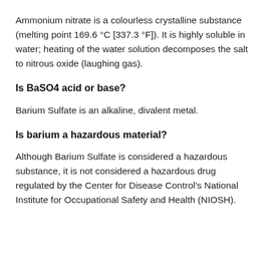Ammonium nitrate is a colourless crystalline substance (melting point 169.6 °C [337.3 °F]). It is highly soluble in water; heating of the water solution decomposes the salt to nitrous oxide (laughing gas).
Is BaSO4 acid or base?
Barium Sulfate is an alkaline, divalent metal.
Is barium a hazardous material?
Although Barium Sulfate is considered a hazardous substance, it is not considered a hazardous drug regulated by the Center for Disease Control's National Institute for Occupational Safety and Health (NIOSH).